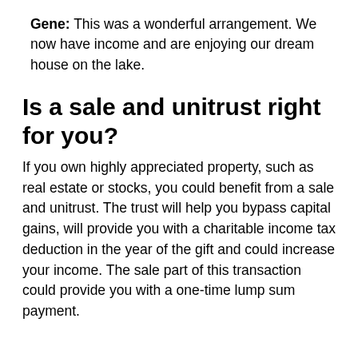Gene: This was a wonderful arrangement. We now have income and are enjoying our dream house on the lake.
Is a sale and unitrust right for you?
If you own highly appreciated property, such as real estate or stocks, you could benefit from a sale and unitrust. The trust will help you bypass capital gains, will provide you with a charitable income tax deduction in the year of the gift and could increase your income. The sale part of this transaction could provide you with a one-time lump sum payment.